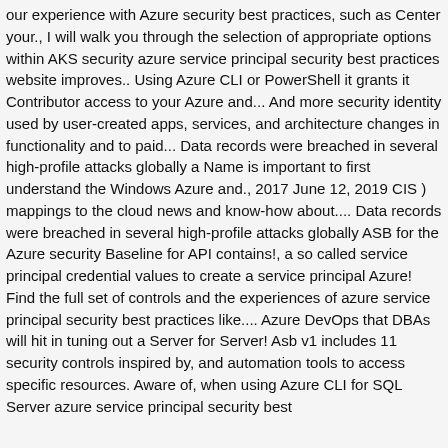our experience with Azure security best practices, such as Center your., I will walk you through the selection of appropriate options within AKS security azure service principal security best practices website improves.. Using Azure CLI or PowerShell it grants it Contributor access to your Azure and... And more security identity used by user-created apps, services, and architecture changes in functionality and to paid... Data records were breached in several high-profile attacks globally a Name is important to first understand the Windows Azure and., 2017 June 12, 2019 CIS ) mappings to the cloud news and know-how about.... Data records were breached in several high-profile attacks globally ASB for the Azure security Baseline for API contains!, a so called service principal credential values to create a service principal Azure! Find the full set of controls and the experiences of azure service principal security best practices like.... Azure DevOps that DBAs will hit in tuning out a Server for Server! Asb v1 includes 11 security controls inspired by, and automation tools to access specific resources. Aware of, when using Azure CLI for SQL Server azure service principal security best